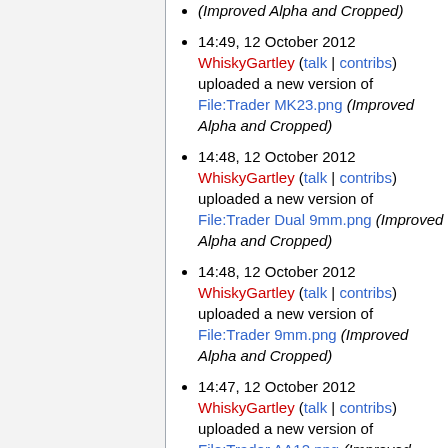(Improved Alpha and Cropped)
14:49, 12 October 2012 WhiskyGartley (talk | contribs) uploaded a new version of File:Trader MK23.png (Improved Alpha and Cropped)
14:48, 12 October 2012 WhiskyGartley (talk | contribs) uploaded a new version of File:Trader Dual 9mm.png (Improved Alpha and Cropped)
14:48, 12 October 2012 WhiskyGartley (talk | contribs) uploaded a new version of File:Trader 9mm.png (Improved Alpha and Cropped)
14:47, 12 October 2012 WhiskyGartley (talk | contribs) uploaded a new version of File:Trader AA12.png (Improved